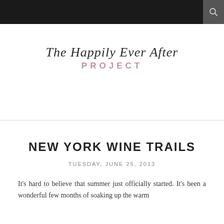The Happily Ever After PROJECT
NEW YORK WINE TRAILS
TUESDAY, JUNE 25, 2013
It's hard to believe that summer just officially started. It's been a wonderful few months of soaking up the warm